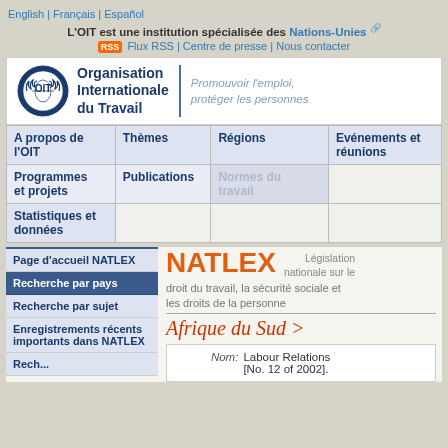English | Français | Español
L'OIT est une institution spécialisée des Nations-Unies
Flux RSS | Centre de presse | Nous contacter
[Figure (logo): OIT logo with olive branches and Organisation Internationale du Travail text, tagline: Promouvoir l'emploi, protéger les personnes]
| A propos de l'OIT | Thèmes | Régions | Evénements et réunions |
| --- | --- | --- | --- |
| Programmes et projets | Publications | Normes du travail |  |
| Statistiques et données |  |  |  |
NATLEX
Législation nationale sur le droit du travail, la sécurité sociale et les droits de la personne
Afrique du Sud >
Page d'accueil NATLEX
Recherche par pays
Recherche par sujet
Enregistrements récents importants dans NATLEX
Nom: Labour Relations [No. 12 of 2002].